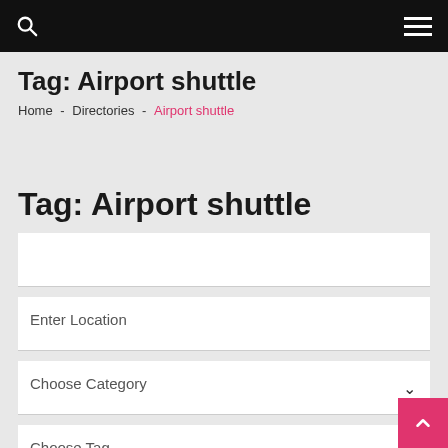Tag: Airport shuttle
Tag: Airport shuttle
Home - Directories - Airport shuttle
Tag: Airport shuttle
Enter Location
Choose Category
Choose Tag